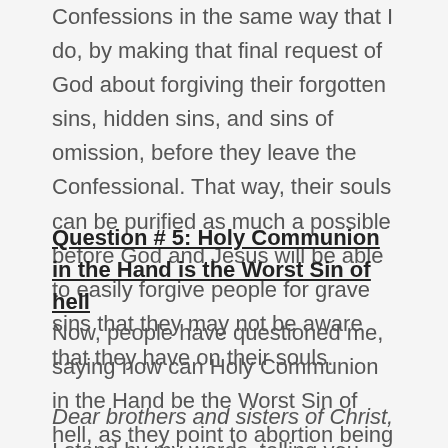Confessions in the same way that I do, by making that final request of God about forgiving their forgotten sins, hidden sins, and sins of omission, before they leave the Confessional. That way, their souls can be purified as much a possible before God and Jesus will be able to easily forgive people for grave sins that they may not be aware that they have on their souls.
Question # 5: Holy Communion in the Hand is the Worst Sin of hell
Now, people have questioned me, saying how can Holy Communion in the Hand be the Worst Sin of hell, as they point to abortion being the worst sin of hell?
Dear brothers and sisters of Christ, I stand by my words, telling you that Holy Communion in the Hand is the